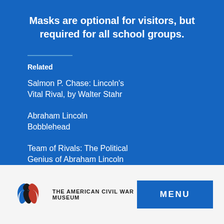Masks are optional for visitors, but required for all school groups.
Related
Salmon P. Chase: Lincoln's Vital Rival, by Walter Stahr
Abraham Lincoln Bobblehead
Team of Rivals: The Political Genius of Abraham Lincoln
[Figure (logo): The American Civil War Museum logo with two profile silhouettes in blue and red]
MENU